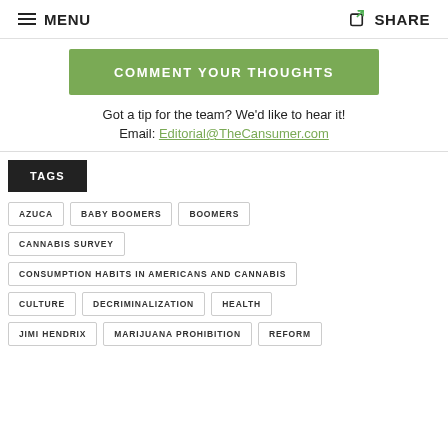MENU  SHARE
COMMENT YOUR THOUGHTS
Got a tip for the team? We'd like to hear it!
Email: Editorial@TheCansumer.com
TAGS
AZUCA
BABY BOOMERS
BOOMERS
CANNABIS SURVEY
CONSUMPTION HABITS IN AMERICANS AND CANNABIS
CULTURE
DECRIMINALIZATION
HEALTH
JIMI HENDRIX
MARIJUANA PROHIBITION
REFORM